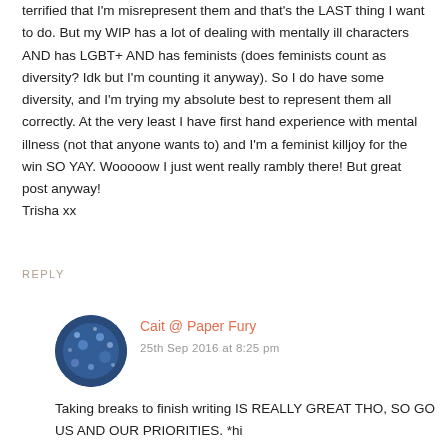terrified that I'm misrepresent them and that's the LAST thing I want to do. But my WIP has a lot of dealing with mentally ill characters AND has LGBT+ AND has feminists (does feminists count as diversity? Idk but I'm counting it anyway). So I do have some diversity, and I'm trying my absolute best to represent them all correctly. At the very least I have first hand experience with mental illness (not that anyone wants to) and I'm a feminist killjoy for the win SO YAY. Wooooow I just went really rambly there! But great post anyway!
Trisha xx
REPLY
Cait @ Paper Fury
25th Sep 2016 at 8:25 pm
Taking breaks to finish writing IS REALLY GREAT THO, SO GO US AND OUR PRIORITIES. *hi